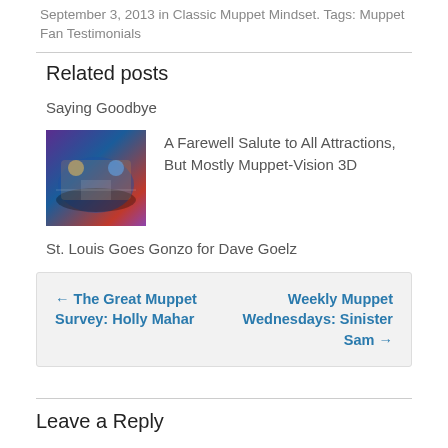September 3, 2013 in Classic Muppet Mindset. Tags: Muppet Fan Testimonials
Related posts
Saying Goodbye
[Figure (photo): Thumbnail image of Muppet-Vision 3D attraction]
A Farewell Salute to All Attractions, But Mostly Muppet-Vision 3D
St. Louis Goes Gonzo for Dave Goelz
← The Great Muppet Survey: Holly Mahar    Weekly Muppet Wednesdays: Sinister Sam →